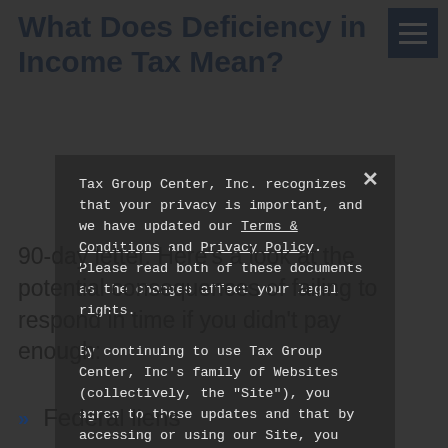What Does Deficiency in Income Tax Mean?
[Figure (screenshot): Hamburger menu icon with three horizontal white lines on a dark blue background]
Tax Group Center, Inc. recognizes that your privacy is important, and we have updated our Terms & Conditions and Privacy Policy. Please read both of these documents as the changes affect your legal rights.

By continuing to use Tax Group Center, Inc's family of Websites (collectively, the "Site"), you agree to these updates and that by accessing or using our Site, you agree to be bound by the Site's terms and conditions.
OK
90-day letter. Here’s a look at the potential consequences of failing to respond in time if you didn’t pay enough:
Federal liens